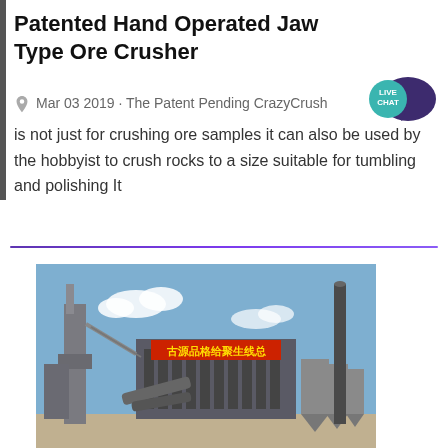Patented Hand Operated Jaw Type Ore Crusher
Mar 03 2019 · The Patent Pending CrazyCrush is not just for crushing ore samples it can also be used by the hobbyist to crush rocks to a size suitable for tumbling and polishing It
[Figure (photo): Photograph of an industrial plant facility with large buildings, silos, conveyor structures, and a tall chimney stack against a blue sky. Chinese characters visible on a sign on the building facade.]